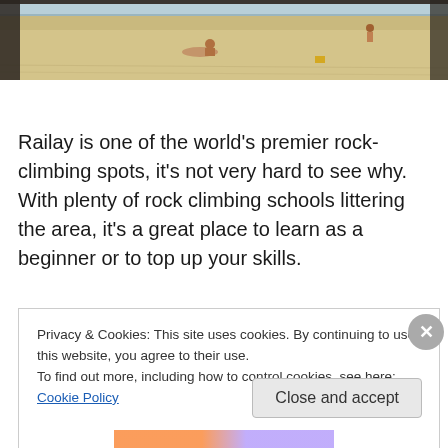[Figure (photo): Beach scene with people on sandy shore, ocean in the background]
Railay is one of the world's premier rock-climbing spots, it's not very hard to see why. With plenty of rock climbing schools littering the area, it's a great place to learn as a beginner or to top up your skills.
Privacy & Cookies: This site uses cookies. By continuing to use this website, you agree to their use.
To find out more, including how to control cookies, see here: Cookie Policy